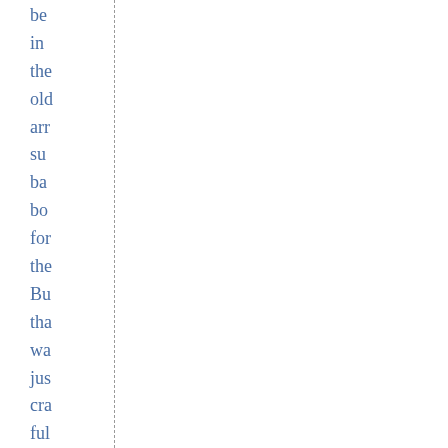be in the old arr su ba bo for the Bu tha wa jus cra ful of cra mu